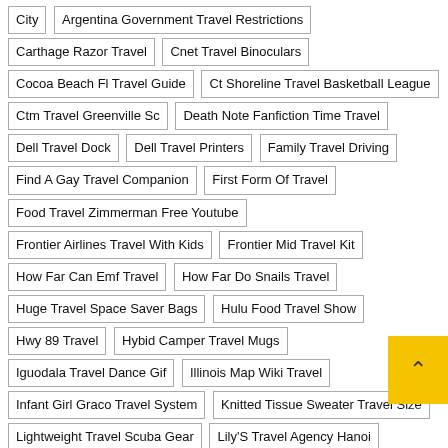City | Argentina Government Travel Restrictions | Carthage Razor Travel | Cnet Travel Binoculars | Cocoa Beach Fl Travel Guide | Ct Shoreline Travel Basketball League | Ctm Travel Greenville Sc | Death Note Fanfiction Time Travel | Dell Travel Dock | Dell Travel Printers | Family Travel Driving | Find A Gay Travel Companion | First Form Of Travel | Food Travel Zimmerman Free Youtube | Frontier Airlines Travel With Kids | Frontier Mid Travel Kit | How Far Can Emf Travel | How Far Do Snails Travel | Huge Travel Space Saver Bags | Hulu Food Travel Show | Hwy 89 Travel | Hybid Camper Travel Mugs | Iguodala Travel Dance Gif | Illinois Map Wiki Travel | Infant Girl Graco Travel System | Knitted Tissue Sweater Travel Size | Lightweight Travel Scuba Gear | Lily'S Travel Agency Hanoi | Little Devils Travel System | Loves Travel Stop # 6 | Movie About Time Travel Comedy | North Miami Beach Travel Agent | Northwes Nj Travel Basketnball | Notfly Amex Of Travel | Occupational Therapy Travel Abroad | Power Australia Travel | Skyrim Clothes To Travel In | Time Travel Fire Psychological | Time Travel Theories Continuum | Toddler Travel Toys For Airplane | Tour Operator Vs Travel Agency | Travel Advisory Roatan Honduras | Travel Trailer Dealers Iowa | Tulum Bachelorette Travel Packages | Walgreens Travel Size Toothbrush | Wash Knit Travel Dress | Waypoint Travel Divinity 2
Previous   Next